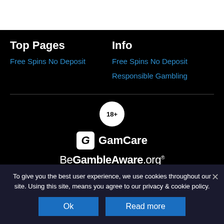Top Pages
Free Spins No Deposit
Info
Free Spins No Deposit
Responsible Gambling
[Figure (logo): 18+ badge circle, GamCare logo, BeGambleAware.org logo on black background]
To give you the best user experience, we use cookies throughout our site. Using this site, means you agree to our privacy & cookie policy.
Ok
Read more